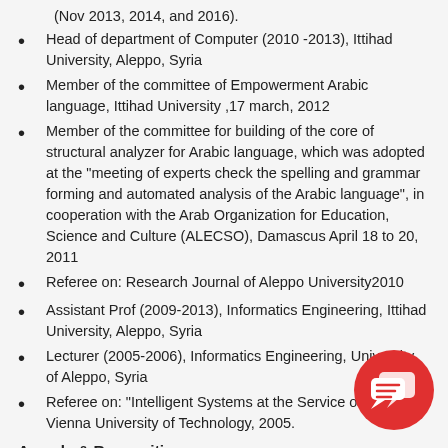(Nov 2013, 2014, and 2016).
Head of department of Computer (2010 -2013), Ittihad University, Aleppo, Syria
Member of the committee of Empowerment Arabic language, Ittihad University ,17 march, 2012
Member of the committee for building of the core of structural analyzer for Arabic language, which was adopted at the "meeting of experts check the spelling and grammar forming and automated analysis of the Arabic language", in cooperation with the Arab Organization for Education, Science and Culture (ALECSO), Damascus April 18 to 20, 2011
Referee on: Research Journal of Aleppo University2010
Assistant Prof (2009-2013), Informatics Engineering, Ittihad University, Aleppo, Syria
Lecturer (2005-2006), Informatics Engineering, University of Aleppo, Syria
Referee on: "Intelligent Systems at the Service of M... book, Vienna University of Technology, 2005.
Awards & Recognition